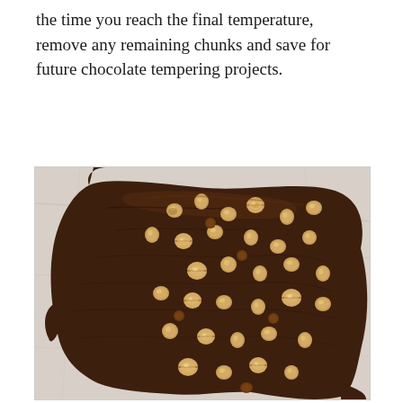the time you reach the final temperature, remove any remaining chunks and save for future chocolate tempering projects.
[Figure (photo): A top-down photo of a sheet of tempered dark chocolate spread on a light marble surface, topped with scattered whole and halved hazelnuts.]